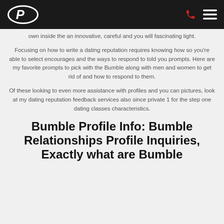own inside the an innovative, careful and you will fascinating light.
Focusing on how to write a dating reputation requires knowing how so you’re able to select encourages and the ways to respond to told you prompts. Here are my favorite prompts to pick with the Bumble along with men and women to get rid of and how to respond to them.
Of these looking to even more assistance with profiles and you can pictures, look at my dating reputation feedback services also since private 1 for the step one dating classes characteristics.
Bumble Profile Info: Bumble Relationships Profile Inquiries, Exactly what are Bumble